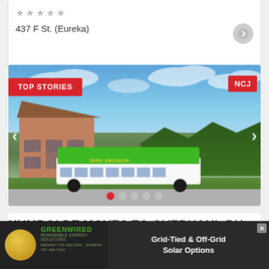437 F St. (Eureka)
[Figure (photo): A green and white zero-emission bus parked in front of a building with a blue sky background, with TOP STORIES badge and NCJ logo overlaid]
HUMBOLDT MOVES TO OVERHAUL BUS
[Figure (other): Greenwired advertisement banner: Grid-Tied & Off-Grid Solar Options, Renewable Energy Solutions, REDWAY 707.923.2001 EUREKA 707.445.7419]